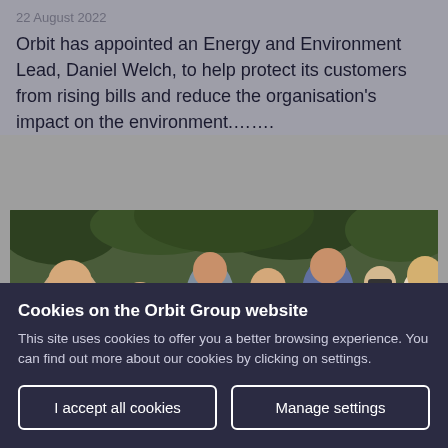22 August 2022
Orbit has appointed an Energy and Environment Lead, Daniel Welch, to help protect its customers from rising bills and reduce the organisation's impact on the environment.…….
[Figure (photo): Group photo of approximately 7 people, men and women, smiling outdoors with green foliage in background]
Cookies on the Orbit Group website
This site uses cookies to offer you a better browsing experience. You can find out more about our cookies by clicking on settings.
I accept all cookies
Manage settings